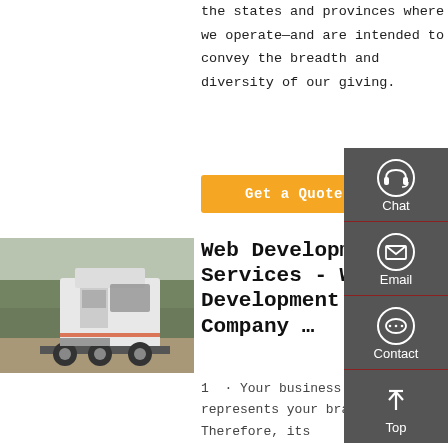the states and provinces where we operate—and are intended to convey the breadth and diversity of our giving.
Get a Quote
[Figure (photo): A white semi-truck/tractor unit photographed from the rear-side angle in a parking area, with trees in the background.]
Web Development Services - Web Development Company …
1 · Your business website represents your brand. Therefore, its